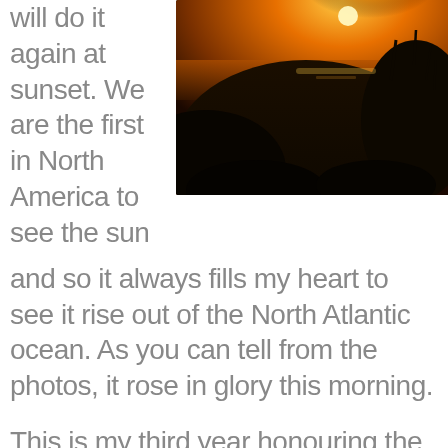will do it again at sunset.  We are the first in North America to see the sun
[Figure (photo): Sunset or sunrise over a dark hill or rocky headland with wildflowers in the foreground, the sun visible at the horizon over the ocean, warm orange and golden tones.]
and so it always fills my heart to see it rise out of the North Atlantic ocean.  As you can tell from the photos, it rose in glory this morning.
This is my third year honouring the summer solstice this way.  The first year I did it on my own, last year my friend